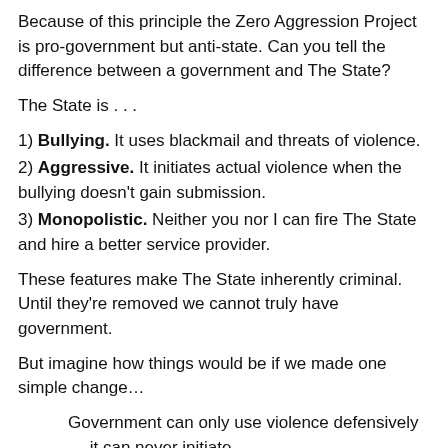Because of this principle the Zero Aggression Project is pro-government but anti-state. Can you tell the difference between a government and The State?
The State is . . .
1) Bullying. It uses blackmail and threats of violence.
2) Aggressive. It initiates actual violence when the bullying doesn't gain submission.
3) Monopolistic. Neither you nor I can fire The State and hire a better service provider.
These features make The State inherently criminal. Until they're removed we cannot truly have government.
But imagine how things would be if we made one simple change…
Government can only use violence defensively — it can never initiate.